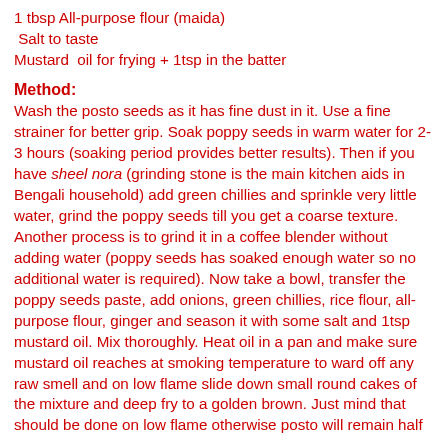1 tbsp All-purpose flour (maida)
Salt to taste
Mustard  oil for frying + 1tsp in the batter
Method:
Wash the posto seeds as it has fine dust in it. Use a fine strainer for better grip. Soak poppy seeds in warm water for 2-3 hours (soaking period provides better results). Then if you have sheel nora (grinding stone is the main kitchen aids in Bengali household) add green chillies and sprinkle very little water, grind the poppy seeds till you get a coarse texture.
Another process is to grind it in a coffee blender without adding water (poppy seeds has soaked enough water so no additional water is required). Now take a bowl, transfer the poppy seeds paste, add onions, green chillies, rice flour, all-purpose flour, ginger and season it with some salt and 1tsp mustard oil. Mix thoroughly. Heat oil in a pan and make sure mustard oil reaches at smoking temperature to ward off any raw smell and on low flame slide down small round cakes of the mixture and deep fry to a golden brown. Just mind that should be done on low flame otherwise posto will remain half